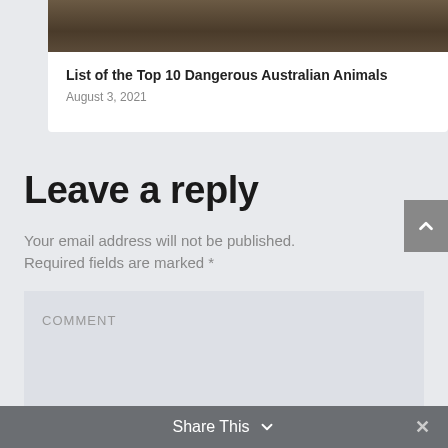[Figure (photo): Top portion of an article card showing a wildlife/nature photo (brown/dark tones suggesting dried leaves or animal fur)]
List of the Top 10 Dangerous Australian Animals
August 3, 2021
Leave a reply
Your email address will not be published. Required fields are marked *
COMMENT
Share This  ✕